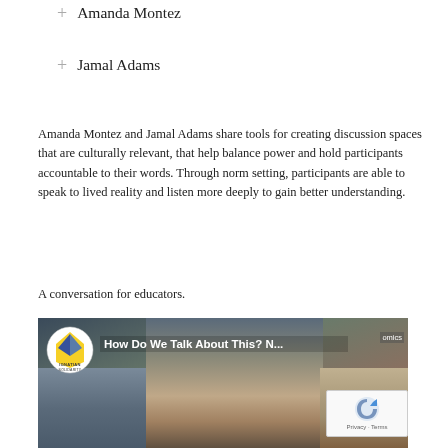+ Amanda Montez
+ Jamal Adams
Amanda Montez and Jamal Adams share tools for creating discussion spaces that are culturally relevant, that help balance power and hold participants accountable to their words. Through norm setting, participants are able to speak to lived reality and listen more deeply to gain better understanding.
A conversation for educators.
[Figure (screenshot): Video thumbnail showing a woman with dark hair in front of a bookshelf, with the Ignatian Solidarity Network logo and title 'How Do We Talk About This? N...' A reCAPTCHA widget appears in the bottom right corner with 'Privacy · Terms' text.]